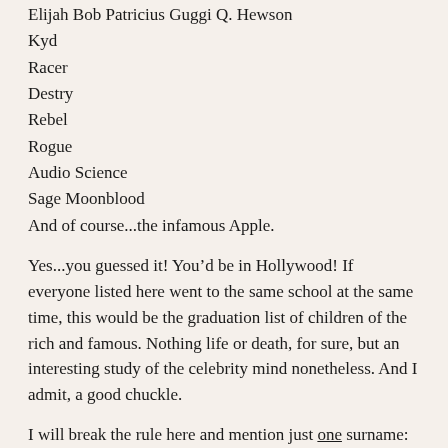Elijah Bob Patricius Guggi Q. Hewson
Kyd
Racer
Destry
Rebel
Rogue
Audio Science
Sage Moonblood
And of course...the infamous Apple.
Yes...you guessed it! You'd be in Hollywood! If everyone listed here went to the same school at the same time, this would be the graduation list of children of the rich and famous. Nothing life or death, for sure, but an interesting study of the celebrity mind nonetheless. And I admit, a good chuckle.
I will break the rule here and mention just one surname: actor Rob Morrow named his daughter Tu. As in Tu Morrow.
It must be a medical condition. Some people are just born without the DumbAssIdea gland that monitors ones judgment. It is usually located directly behind the Pituitary gland.